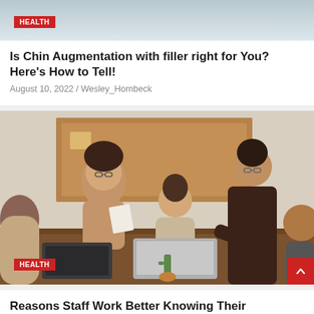[Figure (photo): Partial top image with HEALTH badge, cropped at top]
Is Chin Augmentation with filler right for You? Here's How to Tell!
August 10, 2022 / Wesley_Hornbeck
[Figure (photo): Office meeting photo showing diverse group of people around a table with laptops and documents, HEALTH badge in lower left]
Reasons Staff Work Better Knowing Their